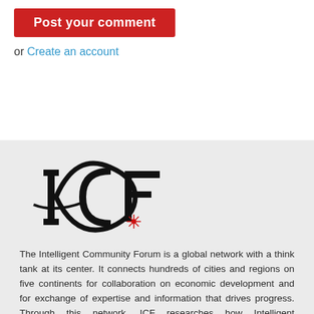[Figure (logo): Red button labeled 'Post your comment']
or Create an account
[Figure (logo): ICF (Intelligent Community Forum) logo — large black stylized letters ICF with a red asterisk/star accent]
The Intelligent Community Forum is a global network with a think tank at its center. It connects hundreds of cities and regions on five continents for collaboration on economic development and for exchange of expertise and information that drives progress. Through this network, ICF researches how Intelligent Communities use information and communications technology to build inclusive prosperity, solve social problems and enrich their quality of life in our connected century.